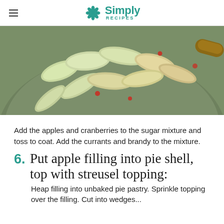Simply Recipes
[Figure (photo): A bowl of sliced green apples and cranberries coated in a sugar mixture, with a wooden spoon visible at the right edge.]
Add the apples and cranberries to the sugar mixture and toss to coat. Add the currants and brandy to the mixture.
6. Put apple filling into pie shell, top with streusel topping:
Heap filling into unbaked pie pastry. Sprinkle topping over the filling. Cut into wedges...